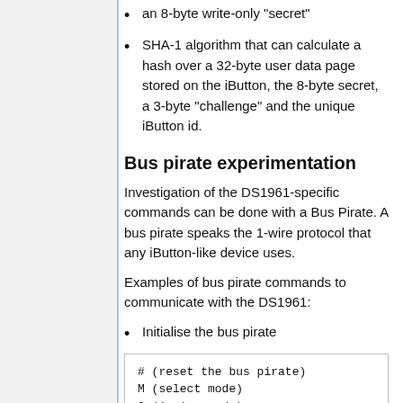an 8-byte write-only "secret"
SHA-1 algorithm that can calculate a hash over a 32-byte user data page stored on the iButton, the 8-byte secret, a 3-byte "challenge" and the unique iButton id.
Bus pirate experimentation
Investigation of the DS1961-specific commands can be done with a Bus Pirate. A bus pirate speaks the 1-wire protocol that any iButton-like device uses.
Examples of bus pirate commands to communicate with the DS1961:
Initialise the bus pirate
# (reset the bus pirate)
M (select mode)
2 (1-wire mode)